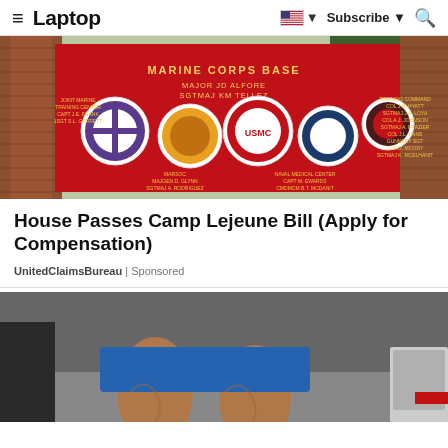≡ Laptop | Subscribe ▼ 🔍
[Figure (photo): Marine Corps Base sign on a red board with multiple military unit emblems/seals, brick wall visible on left, trees in background]
House Passes Camp Lejeune Bill (Apply for Compensation)
UnitedClaimsBureau | Sponsored
[Figure (photo): Close-up photo of a person's legs wearing blue shorts, standing near a vehicle]